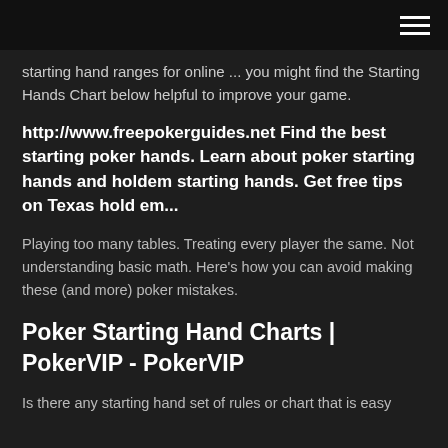starting hand ranges for online ... you might find the Starting Hands Chart below helpful to improve your game.
http://www.freepokerguides.net Find the best starting poker hands. Learn about poker starting hands and holdem starting hands. Get free tips on Texas hold em...
Playing too many tables. Treating every player the same. Not understanding basic math. Here's how you can avoid making these (and more) poker mistakes.
Poker Starting Hand Charts | PokerVIP - PokerVIP
Is there any starting hand set of rules or chart that is easy